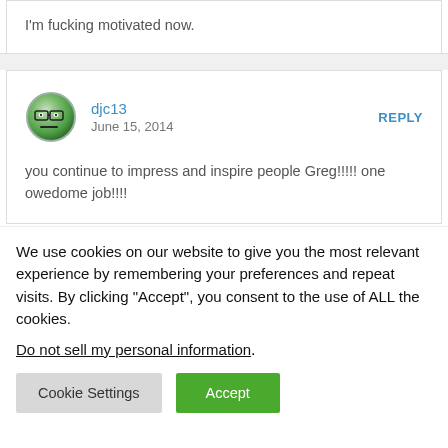I'm fucking motivated now.
djc13
June 15, 2014
you continue to impress and inspire people Greg!!!!! one owedome job!!!!
We use cookies on our website to give you the most relevant experience by remembering your preferences and repeat visits. By clicking "Accept", you consent to the use of ALL the cookies.
Do not sell my personal information.
Cookie Settings   Accept